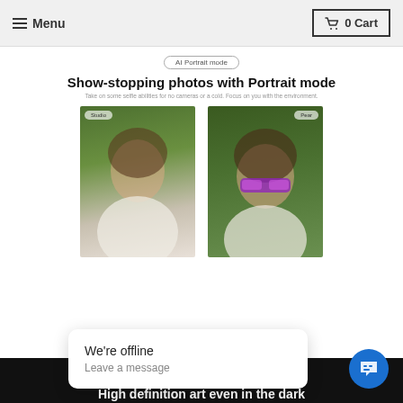Menu | 0 Cart
AI Portrait mode
Show-stopping photos with Portrait mode
Take on some selfie abilities for no cameras or a cold. Focus on you with the environment.
[Figure (photo): Portrait photo of a woman with curly hair wearing white sweater holding purple glasses, green foliage background, labeled 'Studio']
[Figure (photo): Portrait photo of same woman wearing purple sunglasses peeking through green pine branches, labeled 'Pear']
Night mode
High definition art even in the dark
At night, our device seeks to capture the dream in and dark, but a native surface when underground to photos also shows a dramatic surface.
[Figure (photo): Night mode photo showing colorful neon storefront signs in the dark]
We're offline
Leave a message